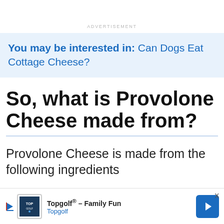ADVERTISEMENT
You may be interested in: Can Dogs Eat Cottage Cheese?
So, what is Provolone Cheese made from?
Provolone Cheese is made from the following ingredients
[Figure (infographic): Advertisement banner for Topgolf - Family Fun with Topgolf logo and navigation arrow icon]